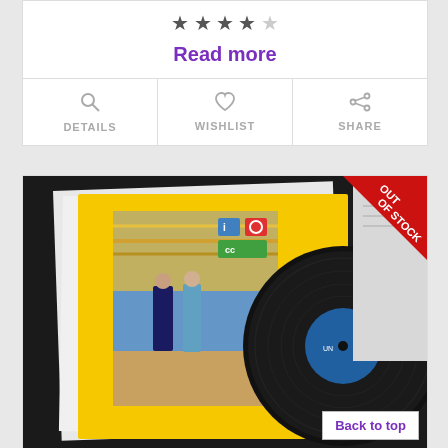[Figure (other): Star rating showing 4 out of 5 stars]
Read more
DETAILS | WISHLIST | SHARE
[Figure (photo): Vinyl record album with yellow cover showing people in a hallway, with a black vinyl record partially out of sleeve. Red 'OUT OF STOCK' banner in top-right corner.]
Back to top